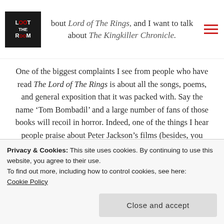bout Lord of The Rings, and I want to talk about The Kingkiller Chronicle.
One of the biggest complaints I see from people who have read The Lord of The Rings is about all the songs, poems, and general exposition that it was packed with. Say the name ‘Tom Bombadil’ and a large number of fans of those books will recoil in horror. Indeed, one of the things I hear people praise about Peter Jackson’s films (besides, you know, everything else) is that he chose to
Privacy & Cookies: This site uses cookies. By continuing to use this website, you agree to their use.
To find out more, including how to control cookies, see here: Cookie Policy
Close and accept